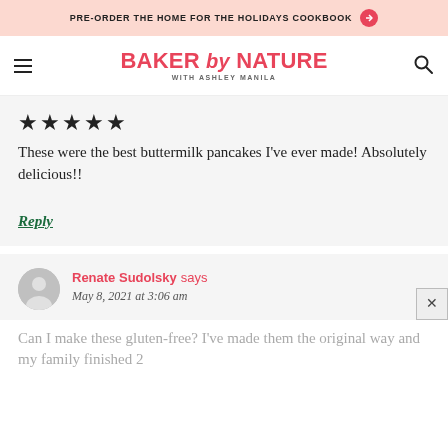PRE-ORDER THE HOME FOR THE HOLIDAYS COOKBOOK →
BAKER by NATURE WITH ASHLEY MANILA
★★★★★
These were the best buttermilk pancakes I've ever made! Absolutely delicious!!
Reply
Renate Sudolsky says
May 8, 2021 at 3:06 am
Can I make these gluten-free? I've made them the original way and my family finished 2